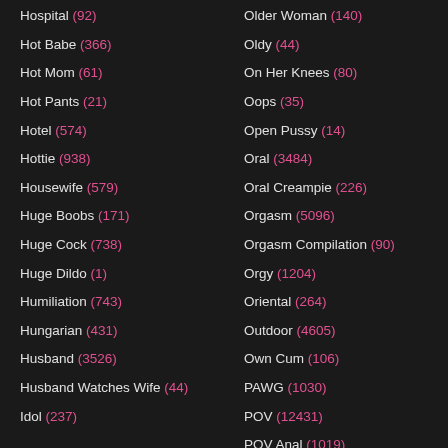Hospital (92)
Hot Babe (366)
Hot Mom (61)
Hot Pants (21)
Hotel (574)
Hottie (938)
Housewife (579)
Huge Boobs (171)
Huge Cock (738)
Huge Dildo (1)
Humiliation (743)
Hungarian (431)
Husband (3526)
Husband Watches Wife (44)
Idol (237)
Older Woman (140)
Oldy (44)
On Her Knees (80)
Oops (35)
Open Pussy (14)
Oral (3484)
Oral Creampie (226)
Orgasm (5096)
Orgasm Compilation (90)
Orgy (1204)
Oriental (264)
Outdoor (4605)
Own Cum (106)
PAWG (1030)
POV (12431)
POV Anal (1019)